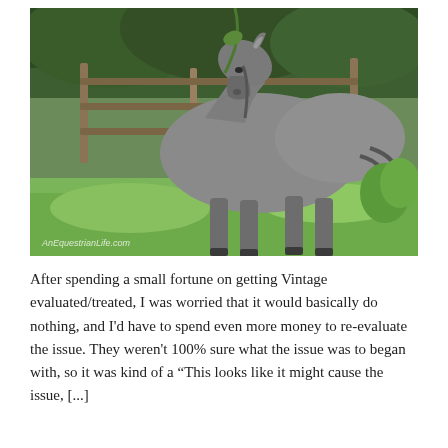[Figure (photo): A grey donkey or mule grazing with head bent down toward green grass, standing in a green pasture with a wooden fence and lush trees in the background. Watermark reads 'AnEquestrianLife.com' in bottom left.]
After spending a small fortune on getting Vintage evaluated/treated, I was worried that it would basically do nothing, and I'd have to spend even more money to re-evaluate the issue. They weren't 100% sure what the issue was to began with, so it was kind of a “This looks like it might cause the issue, [...]